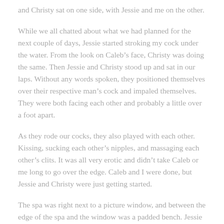and Christy sat on one side, with Jessie and me on the other.
While we all chatted about what we had planned for the next couple of days, Jessie started stroking my cock under the water. From the look on Caleb’s face, Christy was doing the same. Then Jessie and Christy stood up and sat in our laps. Without any words spoken, they positioned themselves over their respective man’s cock and impaled themselves. They were both facing each other and probably a little over a foot apart.
As they rode our cocks, they also played with each other. Kissing, sucking each other’s nipples, and massaging each other’s clits. It was all very erotic and didn’t take Caleb or me long to go over the edge. Caleb and I were done, but Jessie and Christy were just getting started.
The spa was right next to a picture window, and between the edge of the spa and the window was a padded bench. Jessie and Christy climbed up on the bench and got into a sixty-nine